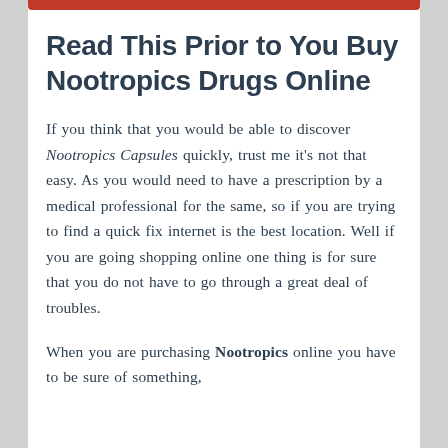Read This Prior to You Buy Nootropics Drugs Online
If you think that you would be able to discover Nootropics Capsules quickly, trust me it's not that easy. As you would need to have a prescription by a medical professional for the same, so if you are trying to find a quick fix internet is the best location. Well if you are going shopping online one thing is for sure that you do not have to go through a great deal of troubles.
When you are purchasing Nootropics online you have to be sure of something,